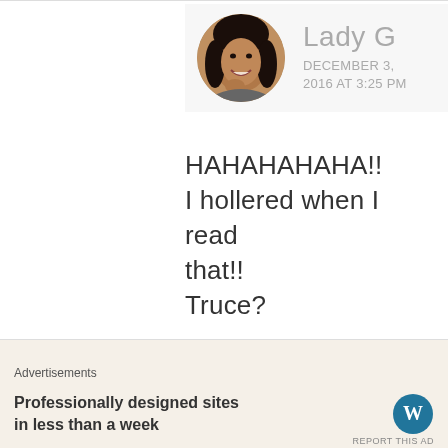[Figure (photo): Circular profile photo of Lady G, a woman smiling, with dark hair]
Lady G
DECEMBER 3, 2016 AT 3:25 PM
HAHAHAHAHA!!
I hollered when I read that!!
Truce?
★ Liked by 1 person
Advertisements
Professionally designed sites in less than a week